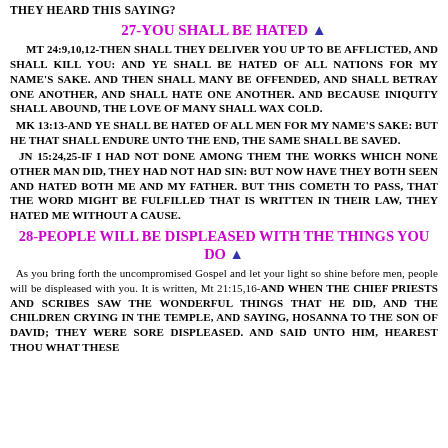THEY HEARD THIS SAYING?
27-YOU SHALL BE HATED ▲
Mt 24:9,10,12-THEN SHALL THEY DELIVER YOU UP TO BE AFFLICTED, AND SHALL KILL YOU: AND YE SHALL BE HATED OF ALL NATIONS FOR MY NAME'S SAKE. AND THEN SHALL MANY BE OFFENDED, AND SHALL BETRAY ONE ANOTHER, AND SHALL HATE ONE ANOTHER. AND BECAUSE INIQUITY SHALL ABOUND, THE LOVE OF MANY SHALL WAX COLD.
Mk 13:13-AND YE SHALL BE HATED OF ALL MEN FOR MY NAME'S SAKE: BUT HE THAT SHALL ENDURE UNTO THE END, THE SAME SHALL BE SAVED.
Jn 15:24,25-IF I HAD NOT DONE AMONG THEM THE WORKS WHICH NONE OTHER MAN DID, THEY HAD NOT HAD SIN: BUT NOW HAVE THEY BOTH SEEN AND HATED BOTH ME AND MY FATHER. BUT THIS COMETH TO PASS, THAT THE WORD MIGHT BE FULFILLED THAT IS WRITTEN IN THEIR LAW, THEY HATED ME WITHOUT A CAUSE.
28-PEOPLE WILL BE DISPLEASED WITH THE THINGS YOU DO ▲
As you bring forth the uncompromised Gospel and let your light so shine before men, people will be displeased with you. It is written, Mt 21:15,16-AND WHEN THE CHIEF PRIESTS AND SCRIBES SAW THE WONDERFUL THINGS THAT HE DID, AND THE CHILDREN CRYING IN THE TEMPLE, AND SAYING, HOSANNA TO THE SON OF DAVID; THEY WERE SORE DISPLEASED. AND SAID UNTO HIM, HEAREST THOU WHAT THESE